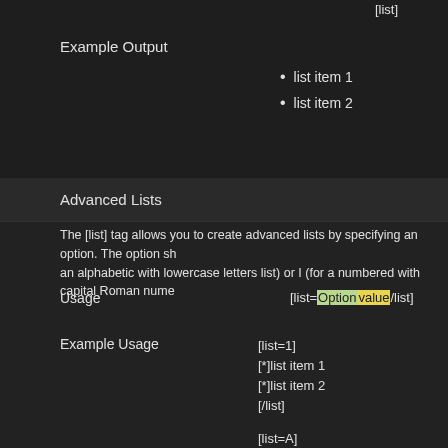[list]
Example Output
list item 1
list item 2
Advanced Lists
The [list] tag allows you to create advanced lists by specifying an option. The option sh... an alphabetic with lowercase letters list) or I (for a numbered with capital Roman nume...
Usage
[list=Option value/list]
Example Usage
[list=1]
[*]list item 1
[*]list item 2
[/list]
[list=A]
[*]list item 1
[*]list item 2
[/list]
[list=a]
[*]list item 1
[*]list item 2
[/list]
Example Output
1. list item 1